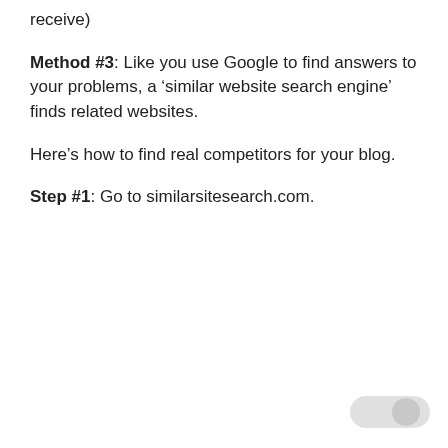receive)
Method #3: Like you use Google to find answers to your problems, a ‘similar website search engine’ finds related websites.
Here’s how to find real competitors for your blog.
Step #1: Go to similarsitesearch.com.